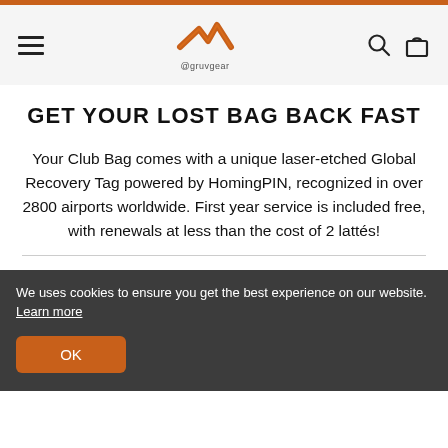@gruvgear
GET YOUR LOST BAG BACK FAST
Your Club Bag comes with a unique laser-etched Global Recovery Tag powered by HomingPIN, recognized in over 2800 airports worldwide. First year service is included free, with renewals at less than the cost of 2 lattés!
We uses cookies to ensure you get the best experience on our website. Learn more